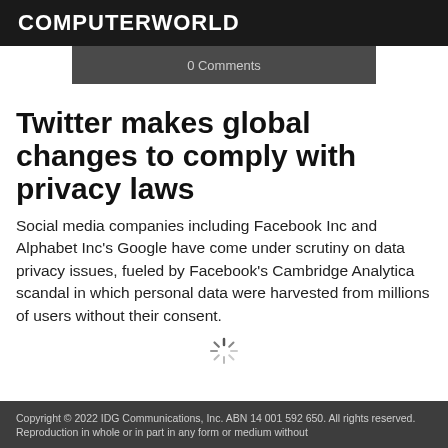COMPUTERWORLD
0 Comments
Twitter makes global changes to comply with privacy laws
Social media companies including Facebook Inc and Alphabet Inc's Google have come under scrutiny on data privacy issues, fueled by Facebook's Cambridge Analytica scandal in which personal data were harvested from millions of users without their consent.
[Figure (other): Loading spinner icon]
Copyright © 2022 IDG Communications, Inc. ABN 14 001 592 650. All rights reserved. Reproduction in whole or in part in any form or medium without